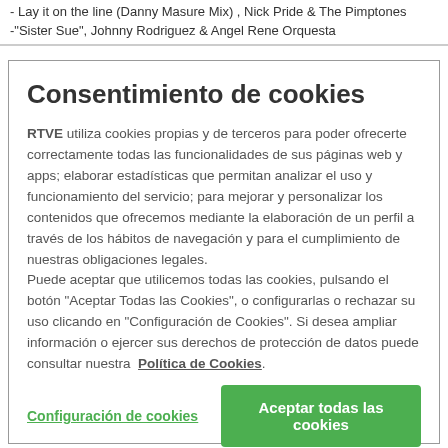- Lay it on the line (Danny Masure Mix) , Nick Pride & The Pimptones
-"Sister Sue", Johnny Rodriguez & Angel Rene Orquesta
Consentimiento de cookies
RTVE utiliza cookies propias y de terceros para poder ofrecerte correctamente todas las funcionalidades de sus páginas web y apps; elaborar estadísticas que permitan analizar el uso y funcionamiento del servicio; para mejorar y personalizar los contenidos que ofrecemos mediante la elaboración de un perfil a través de los hábitos de navegación y para el cumplimiento de nuestras obligaciones legales.
Puede aceptar que utilicemos todas las cookies, pulsando el botón "Aceptar Todas las Cookies", o configurarlas o rechazar su uso clicando en "Configuración de Cookies". Si desea ampliar información o ejercer sus derechos de protección de datos puede consultar nuestra Política de Cookies.
Configuración de cookies
Aceptar todas las cookies